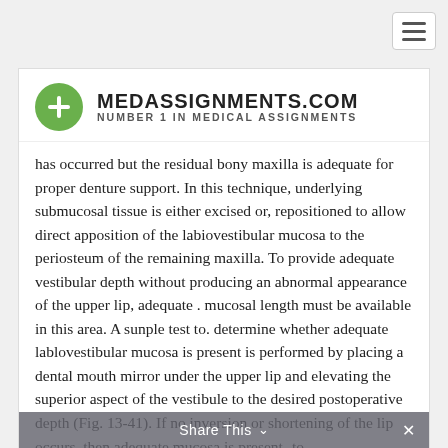[Figure (logo): MedAssignments.com logo with green circle plus icon and text MEDASSIGNMENTS.COM NUMBER 1 IN MEDICAL ASSIGNMENTS]
has occurred but the residual bony maxilla is adequate for proper denture support. In this technique, underlying submucosal tissue is either excised or, repositioned to allow direct apposition of the labiovestibular mucosa to the periosteum of the remaining maxilla. To provide adequate vestibular depth without producing an abnormal appearance of the upper lip, adequate . mucosal length must be available in this area. A sunple test to. determine whether adequate lablovestibular mucosa is present is performed by placing a dental mouth mirror under the upper lip and elevating the superior aspect of the vestibule to the desired postoperative depth (Fig. 13-41). If no inversion or shortening of the lip occurs, then adequate mucosa is present- to